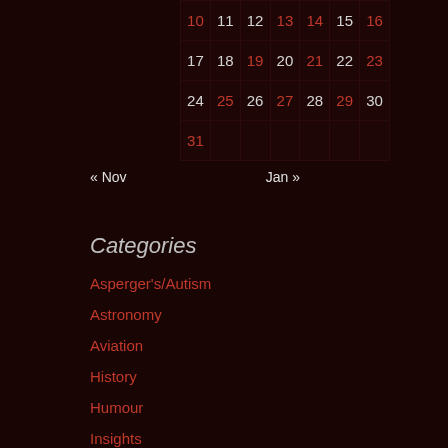| 10 | 11 | 12 | 13 | 14 | 15 | 16 |
| 17 | 18 | 19 | 20 | 21 | 22 | 23 |
| 24 | 25 | 26 | 27 | 28 | 29 | 30 |
| 31 |  |  |  |  |  |  |
« Nov    Jan »
Categories
Asperger's/Autism
Astronomy
Aviation
History
Humour
Insights